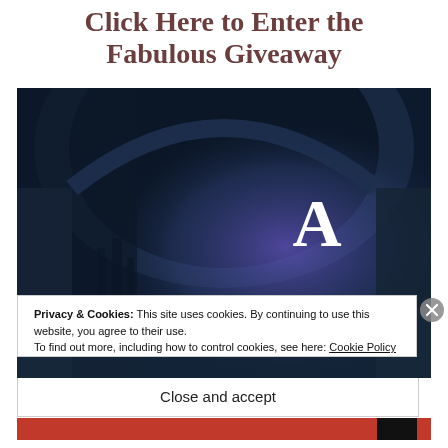Click Here to Enter the Fabulous Giveaway
[Figure (illustration): Dark moody book cover image showing an archway tunnel with blue-purple lighting. Large bold white serif text reads 'A KNIFE' prominently on the right side of the image.]
Privacy & Cookies: This site uses cookies. By continuing to use this website, you agree to their use.
To find out more, including how to control cookies, see here: Cookie Policy
Close and accept